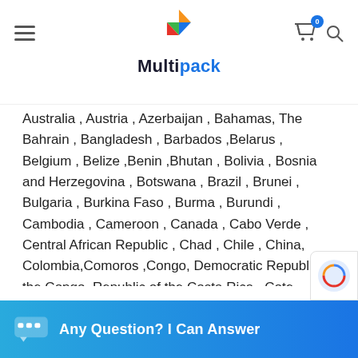Multipack
Australia , Austria , Azerbaijan , Bahamas, The Bahrain , Bangladesh , Barbados ,Belarus , Belgium , Belize ,Benin ,Bhutan , Bolivia , Bosnia and Herzegovina , Botswana , Brazil , Brunei , Bulgaria , Burkina Faso , Burma , Burundi , Cambodia , Cameroon , Canada , Cabo Verde , Central African Republic , Chad , Chile , China, Colombia,Comoros ,Congo, Democratic Republic of the Congo, Republic of the Costa Rica , Cote d'Ivoire , Croatia , , Curacao ,Cyprus , Czechia , Denmark ,Djibouti , Dominica , Dominican Republic ,East Timor (see Timor-Leste) , Ecuador , Egypt , El Salvador , Equatorial Guinea , Eritrea , Estonia ,Ethiopia , Fiji , Finland , Gabon , Gambia, The Georgia , Germany , Ghana , Greece , Grenada , Guatemala ,Guinea , Guin
Any Question? I Can Answer